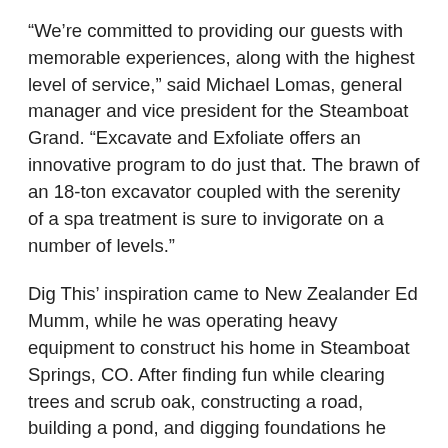“We’re committed to providing our guests with memorable experiences, along with the highest level of service,” said Michael Lomas, general manager and vice president for the Steamboat Grand. “Excavate and Exfoliate offers an innovative program to do just that. The brawn of an 18-ton excavator coupled with the serenity of a spa treatment is sure to invigorate on a number of levels.”
Dig This’ inspiration came to New Zealander Ed Mumm, while he was operating heavy equipment to construct his home in Steamboat Springs, CO. After finding fun while clearing trees and scrub oak, constructing a road, building a pond, and digging foundations he realized the potential for a business opportunity and the concept for Dig This was formed.